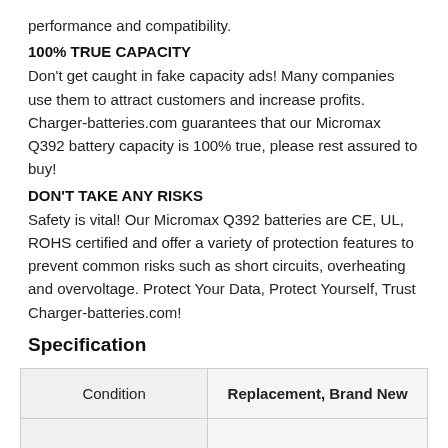performance and compatibility.
100% TRUE CAPACITY
Don't get caught in fake capacity ads! Many companies use them to attract customers and increase profits. Charger-batteries.com guarantees that our Micromax Q392 battery capacity is 100% true, please rest assured to buy!
DON'T TAKE ANY RISKS
Safety is vital! Our Micromax Q392 batteries are CE, UL, ROHS certified and offer a variety of protection features to prevent common risks such as short circuits, overheating and overvoltage. Protect Your Data, Protect Yourself, Trust Charger-batteries.com!
Specification
| Condition | Replacement, Brand New |
| --- | --- |